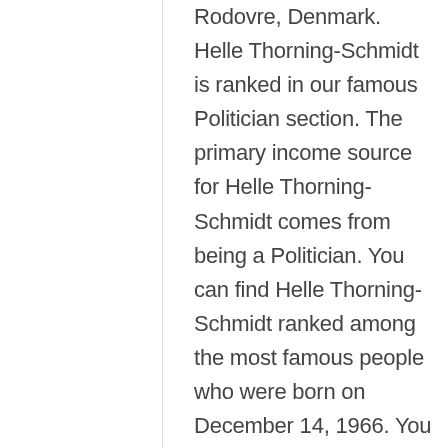Rodovre, Denmark. Helle Thorning-Schmidt is ranked in our famous Politician section. The primary income source for Helle Thorning-Schmidt comes from being a Politician. You can find Helle Thorning-Schmidt ranked among the most famous people who were born on December 14, 1966. You can find out more information and recent updates about Helle Thorning-Schmidt's estimated net worth in 2018, 2017, 2016 & 2015 by